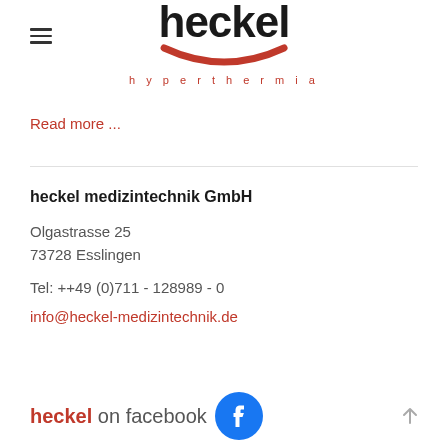[Figure (logo): Heckel hyperthermia logo with stylized text 'heckel', red smile/underline graphic, and 'hyperthermia' subtitle in red spaced letters]
Read more ...
heckel medizintechnik GmbH

Olgastrasse 25
73728 Esslingen

Tel: ++49 (0)711 - 128989 - 0

info@heckel-medizintechnik.de
[Figure (logo): heckel on facebook text with Facebook logo icon (blue circle with white 'f')]